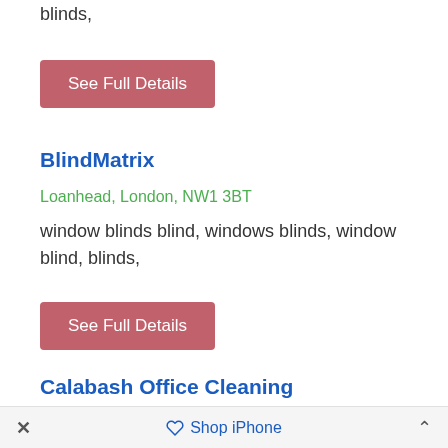blinds,
See Full Details
BlindMatrix
Loanhead, London, NW1 3BT
window blinds blind, windows blinds, window blind, blinds,
See Full Details
Calabash Office Cleaning
× ◇ Shop iPhone ^